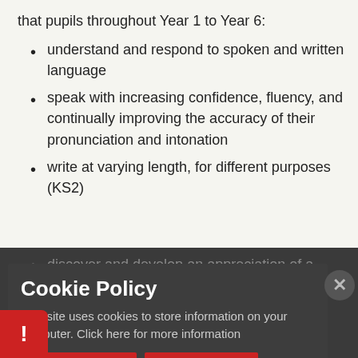that pupils throughout Year 1 to Year 6:
understand and respond to spoken and written language
speak with increasing confidence, fluency, and continually improving the accuracy of their pronunciation and intonation
write at varying length, for different purposes (KS2)
discover and develop an appreciation of a of
The P... George fo- Ge- ... the foundations for further foreign language study be-
Cookie Policy
This site uses cookies to store information on your computer. Click here for more information